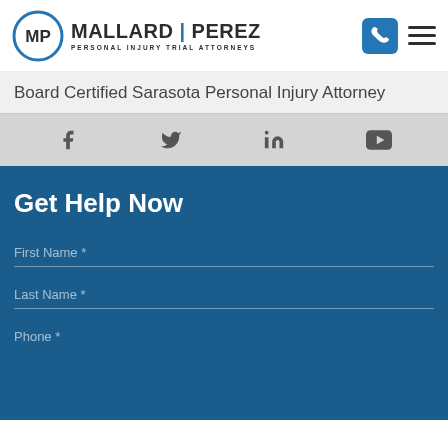[Figure (logo): Mallard Perez Personal Injury Trial Attorneys logo with circular MP emblem]
Board Certified Sarasota Personal Injury Attorney
[Figure (infographic): Social media icons row: Facebook, Twitter, LinkedIn, YouTube]
Get Help Now
First Name *
Last Name *
Phone *